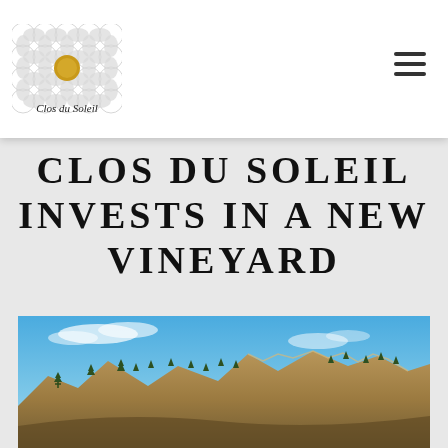[Figure (logo): Clos du Soleil winery logo: a geometric grid pattern of overlapping circles with a gold/amber circle in the center, above the text 'Clos du Soleil' in italic serif font]
CLOS DU SOLEIL INVESTS IN A NEW VINEYARD
[Figure (photo): Landscape photo of rocky mountain ridgeline with pine trees against a blue sky with scattered clouds]